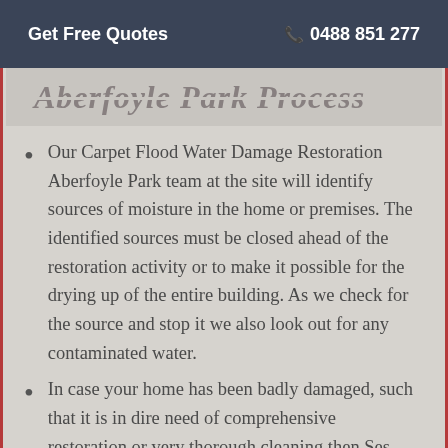Get Free Quotes  📞 0488 851 277
Aberfoyle Park Process
Our Carpet Flood Water Damage Restoration Aberfoyle Park team at the site will identify sources of moisture in the home or premises. The identified sources must be closed ahead of the restoration activity or to make it possible for the drying up of the entire building. As we check for the source and stop it we also look out for any contaminated water.
In case your home has been badly damaged, such that it is in dire need of comprehensive restoration or very thorough cleaning then Ses Carpet Cleaning shall exactly do that for you. We carry out an organized yet efficient move-out meant to fully protect any belongings from